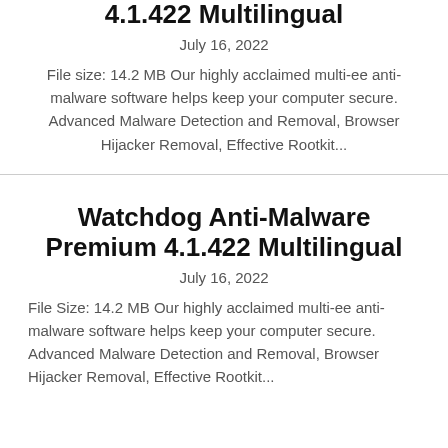4.1.422 Multilingual
July 16, 2022
File size: 14.2 MB Our highly acclaimed multi-ee anti-malware software helps keep your computer secure. Advanced Malware Detection and Removal, Browser Hijacker Removal, Effective Rootkit...
Watchdog Anti-Malware Premium 4.1.422 Multilingual
July 16, 2022
File Size: 14.2 MB Our highly acclaimed multi-ee anti-malware software helps keep your computer secure. Advanced Malware Detection and Removal, Browser Hijacker Removal, Effective Rootkit...